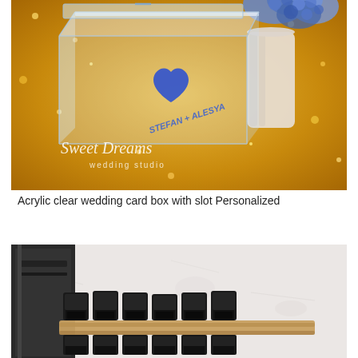[Figure (photo): Photo of a clear acrylic wedding card box with a blue heart decoration and text 'STEFAN + ALESYA' in blue, with 'Sweet Dreams wedding studio' watermark, placed on a gold glittery surface with blue hydrangea flowers in background.]
Acrylic clear wedding card box with slot Personalized
[Figure (photo): Photo of dark/black rubber stamp blocks or letter stamps arranged on a wooden tray/holder, against a light gray/white textured background.]